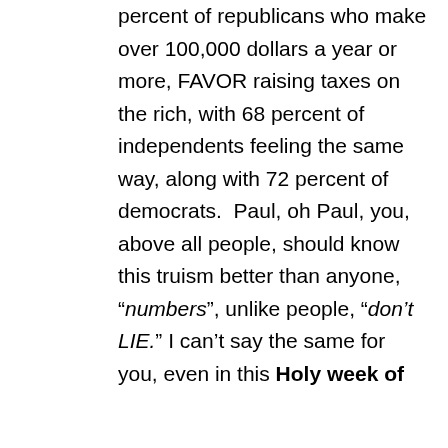percent of republicans who make over 100,000 dollars a year or more, FAVOR raising taxes on the rich, with 68 percent of independents feeling the same way, along with 72 percent of democrats.  Paul, oh Paul, you, above all people, should know this truism better than anyone, “numbers”, unlike people, “don’t LIE.” I can’t say the same for you, even in this Holy week of